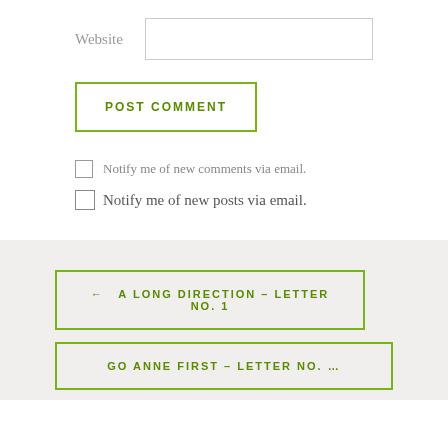Website
POST COMMENT
Notify me of new comments via email.
Notify me of new posts via email.
← A LONG DIRECTION – LETTER NO. 1
GO ANNE FIRST – LETTER NO. …